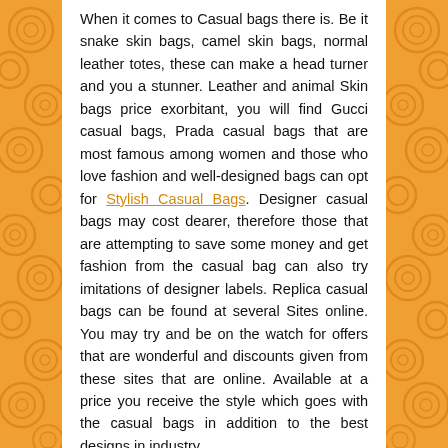When it comes to Casual bags there is. Be it snake skin bags, camel skin bags, normal leather totes, these can make a head turner and you a stunner. Leather and animal Skin bags price exorbitant, you will find Gucci casual bags, Prada casual bags that are most famous among women and those who love fashion and well-designed bags can opt for Stylish Casual Bags. Designer casual bags may cost dearer, therefore those that are attempting to save some money and get fashion from the casual bag can also try imitations of designer labels. Replica casual bags can be found at several Sites online. You may try and be on the watch for offers that are wonderful and discounts given from these sites that are online. Available at a price you receive the style which goes with the casual bags in addition to the best designs in industry.
You will find several Brand names which are most sought after like Fundi, Gucci and Louis Vuitton. It is not all for women; the designer wallets can be also used by guys. Replica pockets have the identical design as the designer Casual bags and are available at rock bottom prices.